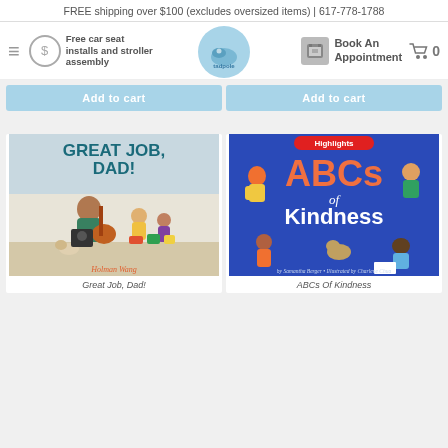FREE shipping over $100 (excludes oversized items) | 617-778-1788
Free car seat installs and stroller assembly
[Figure (logo): Tadpole store logo - circular blue logo with wave and fish design]
Book An Appointment
Add to cart (two buttons)
[Figure (photo): Book cover: Great Job, Dad! by Holman Wang - shows claymation father playing guitar with children]
[Figure (illustration): Book cover: ABCs of Kindness - Highlights brand, blue cover with illustrated children]
Great Job, Dad!
ABCs Of Kindness